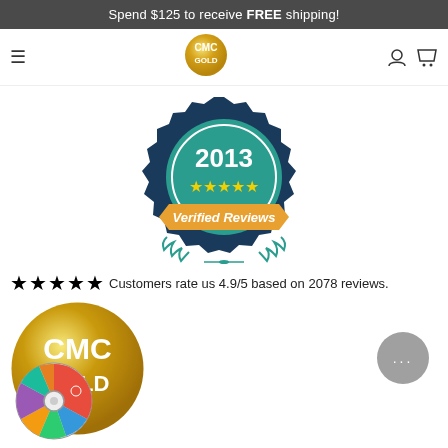Spend $125 to receive FREE shipping!
[Figure (logo): CMC Gold circular gold foil logo in navigation bar]
[Figure (logo): 2013 Verified Reviews badge with teal gear shape, 5 gold stars, orange ribbon, and laurel wreath]
★★★★★ Customers rate us 4.9/5 based on 2078 reviews.
[Figure (logo): Large CMC Gold circular gold foil logo at bottom left]
[Figure (illustration): Colorful spin wheel / prize wheel with multiple colored segments]
info@cmcgold.com.au